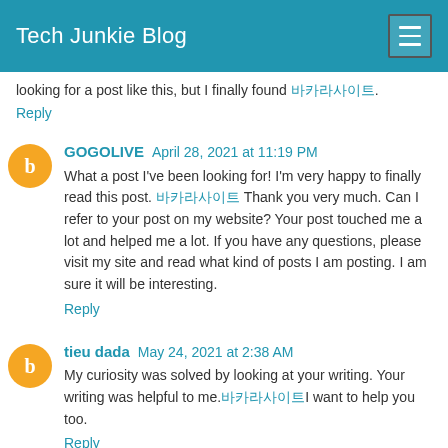Tech Junkie Blog
looking for a post like this, but I finally found 바카라사이트.
Reply
GOGOLIVE  April 28, 2021 at 11:19 PM
What a post I've been looking for! I'm very happy to finally read this post. 바카라사이트 Thank you very much. Can I refer to your post on my website? Your post touched me a lot and helped me a lot. If you have any questions, please visit my site and read what kind of posts I am posting. I am sure it will be interesting.
Reply
tieu dada  May 24, 2021 at 2:38 AM
My curiosity was solved by looking at your writing. Your writing was helpful to me.바카라사이트I want to help you too.
Reply